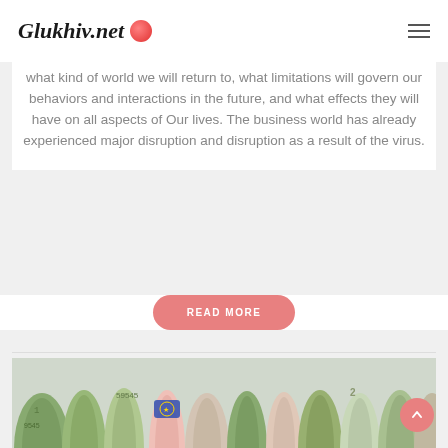Glukhiv.net
what kind of world we will return to, what limitations will govern our behaviors and interactions in the future, and what effects they will have on all aspects of Our lives. The business world has already experienced major disruption and disruption as a result of the virus.
READ MORE
[Figure (photo): Rolled up paper currency bills of various denominations and currencies including US dollars and Euros, arranged upright on a light background.]